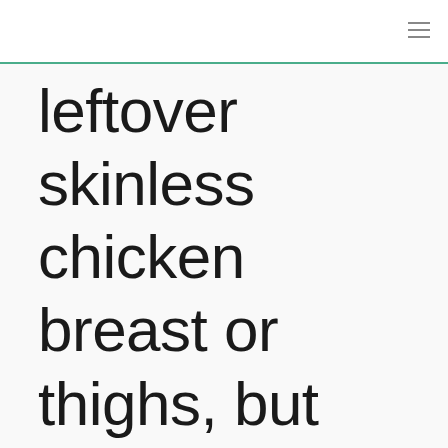≡
leftover skinless chicken breast or thighs, but you can also utilize store-